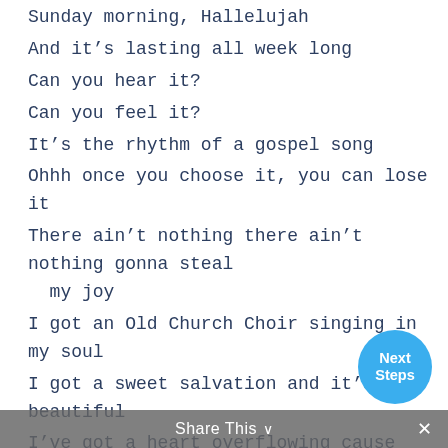Sunday morning, Hallelujah
And it's lasting all week long
Can you hear it?
Can you feel it?
It's the rhythm of a gospel song
Ohhh once you choose it, you can lose it
There ain't nothing there ain't nothing gonna steal my joy
I got an Old Church Choir singing in my soul
I got a sweet salvation and it's beautiful
I've got a heart overflowing cause I've been restored
There ain't nothing gonna steal my joy
No there ain't nothing gonna steal my joy
When the valleys, that I wander
Turn to mountains that I can climb
Share This ∨